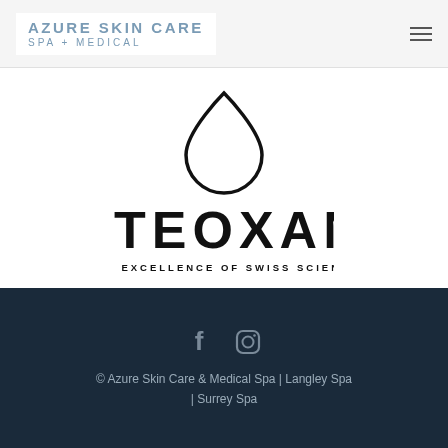[Figure (logo): Azure Skin Care Spa + Medical logo in blue-grey text on white background, with hamburger menu icon on right]
[Figure (logo): TEOXANE logo with water droplet icon above and tagline 'THE EXCELLENCE OF SWISS SCIENCE' below]
© Azure Skin Care & Medical Spa | Langley Spa | Surrey Spa